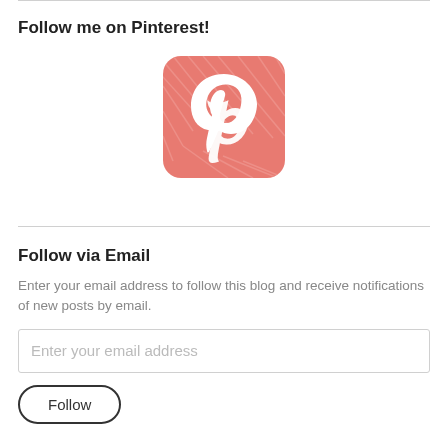Follow me on Pinterest!
[Figure (logo): Pinterest app icon — rounded square with coral/salmon sketchy textured background and white Pinterest 'P' logo]
Follow via Email
Enter your email address to follow this blog and receive notifications of new posts by email.
Enter your email address
Follow